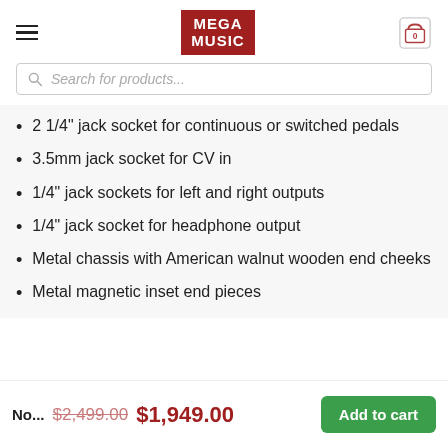MEGA MUSIC
2 1/4" jack socket for continuous or switched pedals
3.5mm jack socket for CV in
1/4" jack sockets for left and right outputs
1/4" jack socket for headphone output
Metal chassis with American walnut wooden end cheeks
Metal magnetic inset end pieces
No... $2,499.00 $1,949.00 Add to cart